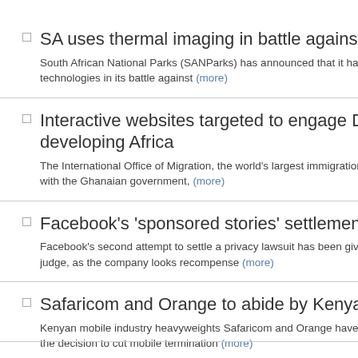SA uses thermal imaging in battle against rhino poac… South African National Parks (SANParks) has announced that it has turn… technologies in its battle against (more)
Interactive websites targeted to engage Diaspora Af… developing Africa The International Office of Migration, the world's largest immigration age… with the Ghanaian government, (more)
Facebook's 'sponsored stories' settlement gets initia… Facebook's second attempt to settle a privacy lawsuit has been given pr… judge, as the company looks recompense (more)
Safaricom and Orange to abide by Kenyan MTR cut… Kenyan mobile industry heavyweights Safaricom and Orange have confi… the decision to cut mobile termination (more)